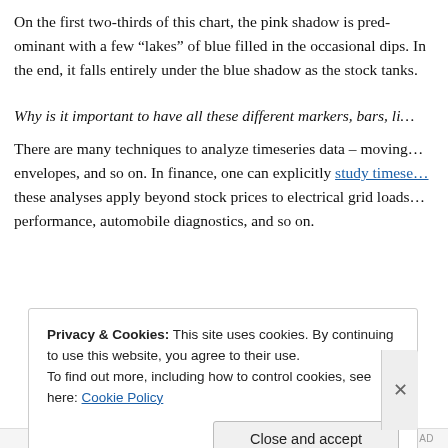On the first two-thirds of this chart, the pink shadow is predominant with a few “lakes” of blue filled in the occasional dips. In the end, it falls entirely under the blue shadow as the stock tanks.
Why is it important to have all these different markers, bars, li…
There are many techniques to analyze timeseries data – moving… envelopes, and so on. In finance, one can explicitly study timese… these analyses apply beyond stock prices to electrical grid loads… performance, automobile diagnostics, and so on.
Privacy & Cookies: This site uses cookies. By continuing to use this website, you agree to their use.
To find out more, including how to control cookies, see here: Cookie Policy
Close and accept